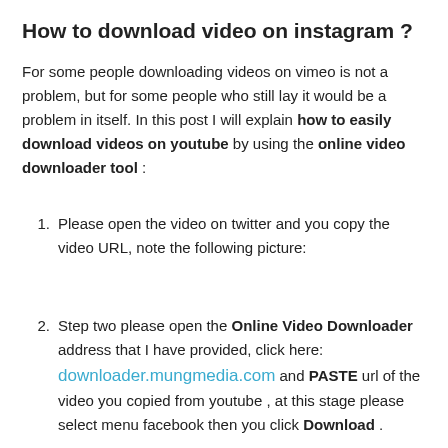How to download video on instagram ?
For some people downloading videos on vimeo is not a problem, but for some people who still lay it would be a problem in itself. In this post I will explain how to easily download videos on youtube by using the online video downloader tool :
Please open the video on twitter and you copy the video URL, note the following picture:
Step two please open the Online Video Downloader address that I have provided, click here: downloader.mungmedia.com and PASTE url of the video you copied from youtube , at this stage please select menu facebook then you click Download .